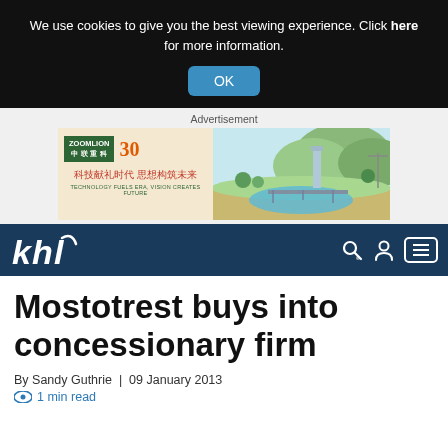We use cookies to give you the best viewing experience. Click here for more information.
OK
[Figure (illustration): Zoomlion advertisement banner with company logo, 30th anniversary mark, Chinese text '科技献礼时代 思想构筑未来' and English 'TECHNOLOGY FUELS ERA, VISION CREATES FUTURE', with illustrated landscape on right side]
khl
Mostotrest buys into concessionary firm
By Sandy Guthrie | 09 January 2013
1 min read